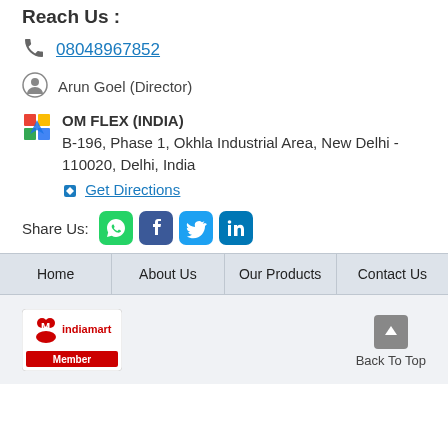Reach Us :
08048967852
Arun Goel (Director)
OM FLEX (INDIA)
B-196, Phase 1, Okhla Industrial Area, New Delhi - 110020, Delhi, India
Get Directions
Share Us:
Home
About Us
Our Products
Contact Us
[Figure (logo): IndiaMart Member logo]
Back To Top